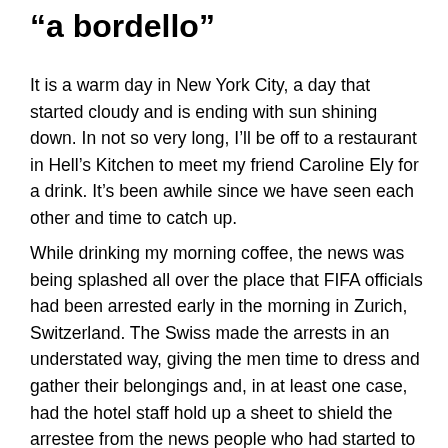“a bordello”
It is a warm day in New York City, a day that started cloudy and is ending with sun shining down. In not so very long, I’ll be off to a restaurant in Hell’s Kitchen to meet my friend Caroline Ely for a drink. It’s been awhile since we have seen each other and time to catch up.
While drinking my morning coffee, the news was being splashed all over the place that FIFA officials had been arrested early in the morning in Zurich, Switzerland. The Swiss made the arrests in an understated way, giving the men time to dress and gather their belongings and, in at least one case, had the hotel staff hold up a sheet to shield the arrestee from the news people who had started to gather.